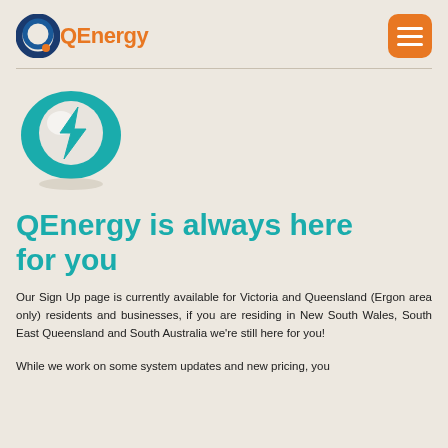QEnergy
[Figure (logo): QEnergy teal circular electricity bolt logo icon]
QEnergy is always here for you
Our Sign Up page is currently available for Victoria and Queensland (Ergon area only) residents and businesses, if you are residing in New South Wales, South East Queensland and South Australia we're still here for you!
While we work on some system updates and new pricing, you